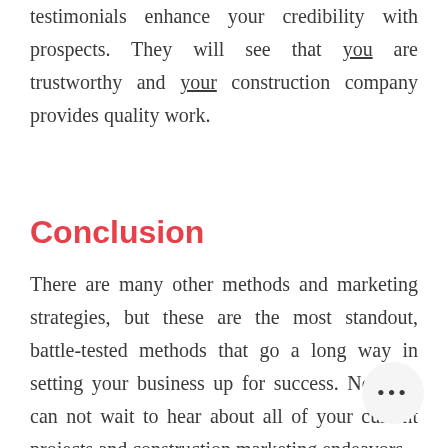testimonials enhance your credibility with prospects. They will see that you are trustworthy and your construction company provides quality work.
Conclusion
There are many other methods and marketing strategies, but these are the most standout, battle-tested methods that go a long way in setting your business up for success. Now we can not wait to hear about all of your current projects and construction marketing endeavors.